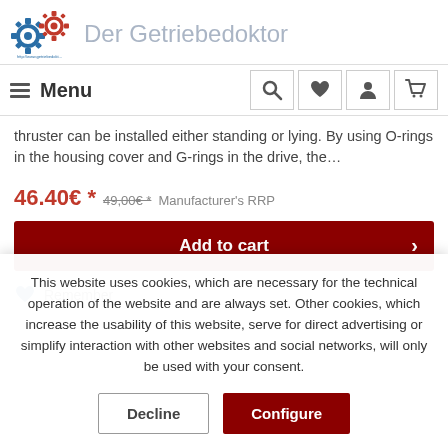Der Getriebedoktor
thruster can be installed either standing or lying. By using O-rings in the housing cover and G-rings in the drive, the…
46.40€ * 49,00€ * Manufacturer's RRP
Add to cart
Remember
This website uses cookies, which are necessary for the technical operation of the website and are always set. Other cookies, which increase the usability of this website, serve for direct advertising or simplify interaction with other websites and social networks, will only be used with your consent.
Decline | Configure